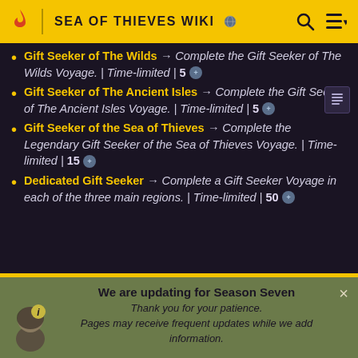SEA OF THIEVES WIKI
Gift Seeker of The Wilds → Complete the Gift Seeker of The Wilds Voyage. | Time-limited | 5
Gift Seeker of The Ancient Isles → Complete the Gift Seeker of The Ancient Isles Voyage. | Time-limited | 5
Gift Seeker of the Sea of Thieves → Complete the Legendary Gift Seeker of the Sea of Thieves Voyage. | Time-limited | 15
Dedicated Gift Seeker → Complete a Gift Seeker Voyage in each of the three main regions. | Time-limited | 50
We are updating for Season Seven
Thank you for your patience.
Pages may receive frequent updates while we add information.